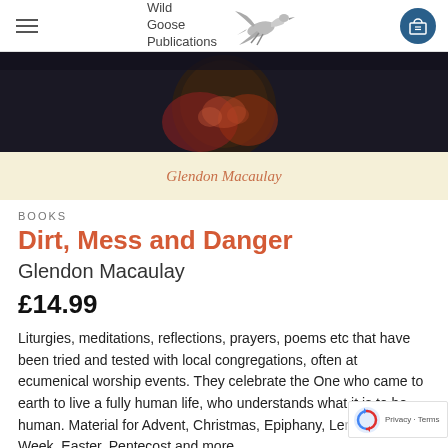Wild Goose Publications
[Figure (photo): Book cover image of Dirt, Mess and Danger by Glendon Macaulay. Dark top portion showing a figure, cream bottom strip with author name 'Glendon Macaulay' in terracotta italic.]
BOOKS
Dirt, Mess and Danger
Glendon Macaulay
£14.99
Liturgies, meditations, reflections, prayers, poems etc that have been tried and tested with local congregations, often at ecumenical worship events. They celebrate the One who came to earth to live a fully human life, who understands what it is to be human. Material for Advent, Christmas, Epiphany, Lent, Holy Week, Easter, Pentecost and more.